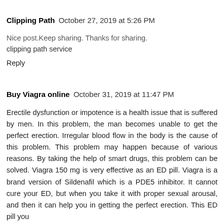Clipping Path  October 27, 2019 at 5:26 PM
Nice post.Keep sharing. Thanks for sharing.
clipping path service
Reply
Buy Viagra online  October 31, 2019 at 11:47 PM
Erectile dysfunction or impotence is a health issue that is suffered by men. In this problem, the man becomes unable to get the perfect erection. Irregular blood flow in the body is the cause of this problem. This problem may happen because of various reasons. By taking the help of smart drugs, this problem can be solved. Viagra 150 mg is very effective as an ED pill. Viagra is a brand version of Sildenafil which is a PDE5 inhibitor. It cannot cure your ED, but when you take it with proper sexual arousal, and then it can help you in getting the perfect erection. This ED pill you